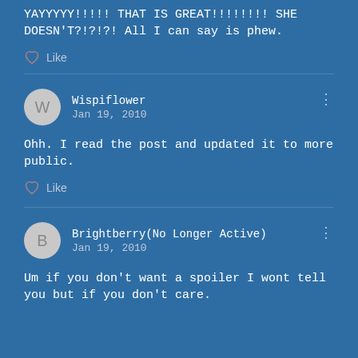YAYYYYY!!!!! THAT IS GREAT!!!!!!!! SHE DOESN'T?!?!?! All I can say is phew.
Like
Wispiflower
Jan 19, 2010
Ohh. I read the post and updated it to more public.
Like
Brightberry(No Longer Active)
Jan 19, 2010
Um if you don't want a spoiler I wont tell you but if you don't care.